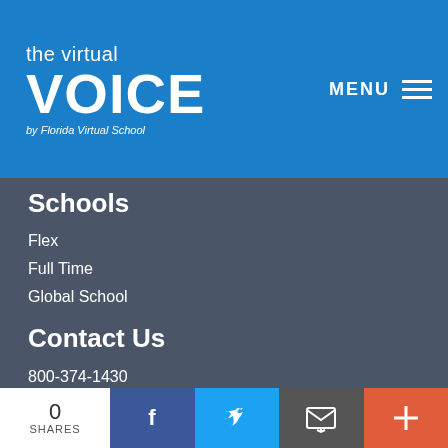the virtual VOICE by Florida Virtual School
Schools
Flex
Full Time
Global School
Contact Us
800-374-1430
Send Us a Message
Stay Connected
[Figure (illustration): Social media icons row 1: Facebook (blue circle), Twitter (light blue circle), YouTube (red circle)]
[Figure (illustration): Social media icons row 2: Pinterest (red circle), Instagram (pink/red circle), FLVS Blog (orange circle)]
0 SHARES | Facebook share | Twitter share | Email share | More